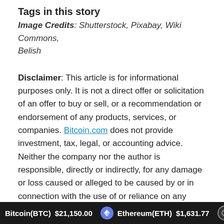Tags in this story
Image Credits: Shutterstock, Pixabay, Wiki Commons, Belish
Disclaimer: This article is for informational purposes only. It is not a direct offer or solicitation of an offer to buy or sell, or a recommendation or endorsement of any products, services, or companies. Bitcoin.com does not provide investment, tax, legal, or accounting advice. Neither the company nor the author is responsible, directly or indirectly, for any damage or loss caused or alleged to be caused by or in connection with the use of or reliance on any content, goods or services mentioned in this article.
Read disclaimer
Bitcoin(BTC) $21,150.00   Ethereum(ETH) $1,631.77   XRP(